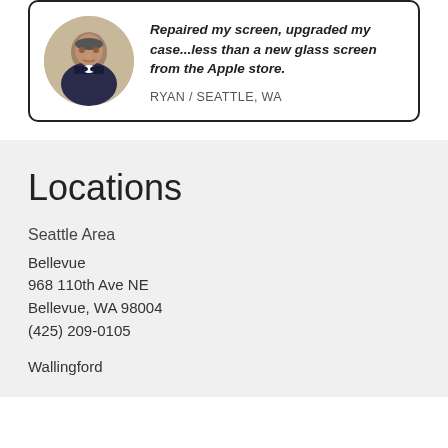Repaired my screen, upgraded my case...less than a new glass screen from the Apple store.
RYAN / SEATTLE, WA
[Figure (photo): Circular avatar photo of a man wearing a suit and bow tie]
Locations
Seattle Area
Bellevue
968 110th Ave NE
Bellevue, WA 98004
(425) 209-0105
Wallingford